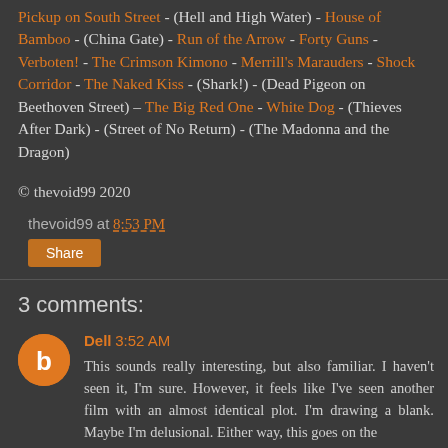Pickup on South Street - (Hell and High Water) - House of Bamboo - (China Gate) - Run of the Arrow - Forty Guns - Verboten! - The Crimson Kimono - Merrill's Marauders - Shock Corridor - The Naked Kiss - (Shark!) - (Dead Pigeon on Beethoven Street) – The Big Red One - White Dog - (Thieves After Dark) - (Street of No Return) - (The Madonna and the Dragon)
© thevoid99 2020
thevoid99 at 8:53 PM
Share
3 comments:
Dell 3:52 AM
This sounds really interesting, but also familiar. I haven't seen it, I'm sure. However, it feels like I've seen another film with an almost identical plot. I'm drawing a blank. Maybe I'm delusional. Either way, this goes on the